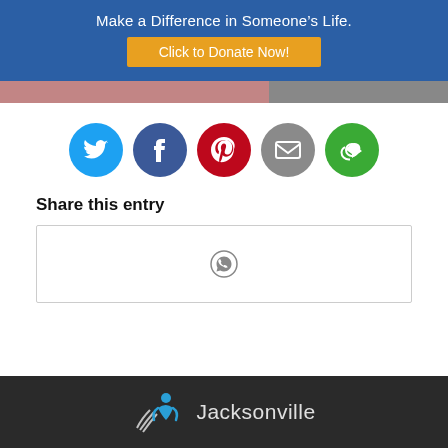Make a Difference in Someone's Life.
Click to Donate Now!
[Figure (illustration): Row of social media sharing icons: Twitter (blue), Facebook (dark blue), Pinterest (red), Email (gray), and a green share/reload icon]
Share this entry
[Figure (illustration): WhatsApp share icon in a bordered box]
Jacksonville